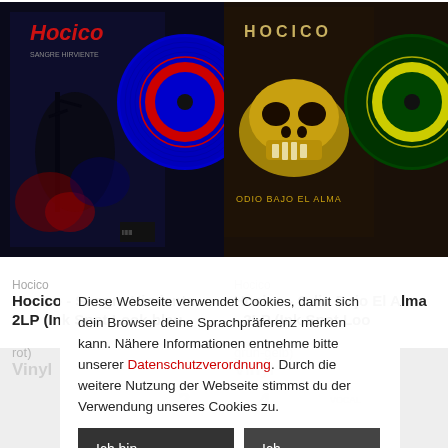[Figure (photo): Hocico - Sangre Hirviente album cover with blue vinyl record]
[Figure (photo): Hocico - Odio Bajo El Alma album cover with green-yellow vinyl record]
Hocico
Hocico - Sangre Hirviente - 2LP (Ink Spot Look blau-rot)
Vinyl
Hocico
Hocico - Odio Bajo El Alma - 2LP (Ink Spot Look grün-gelb)
Vinyl
Diese Webseite verwendet Cookies, damit sich dein Browser deine Sprachpräferenz merken kann. Nähere Informationen entnehme bitte unserer Datenschutzverordnung. Durch die weitere Nutzung der Webseite stimmst du der Verwendung unseres Cookies zu.
Ich bin einverstanden
Ich lehne ab